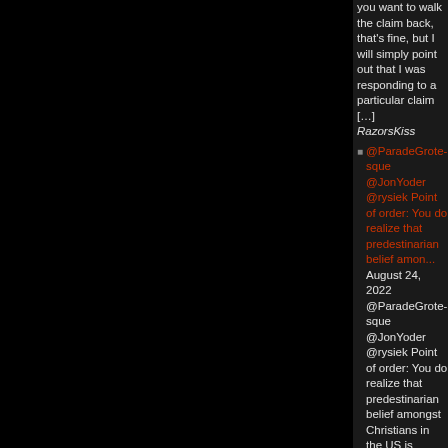you want to walk the claim back, that's fine, but I will simply point out that I was responding to a particular claim […] RazorsKiss
@ParadeGrotesque @JonYoder @rysiek Point of order: You do realize that predestinarian belief amon... August 24, 2022 @ParadeGrotesque @JonYoder @rysiek Point of order: You do realize that predestinarian belief amongst Christians in the US is somewhere around like 3-4%, max, right? The vasssst majority of people you're discussing